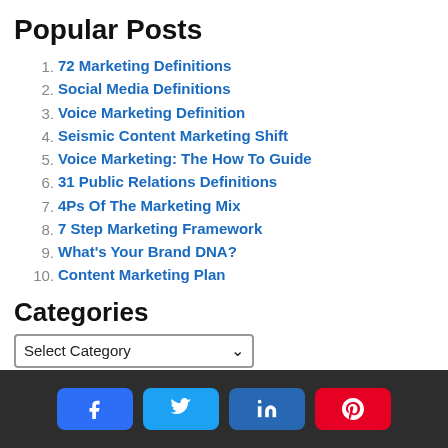Popular Posts
1. 72 Marketing Definitions
2. Social Media Definitions
3. Voice Marketing Definition
4. Seismic Content Marketing Shift
5. Voice Marketing: The How To Guide
6. 31 Public Relations Definitions
7. 4Ps Of The Marketing Mix
8. 7 Step Marketing Framework
9. What's Your Brand DNA?
10. Content Marketing Plan
Categories
Select Category
Archives